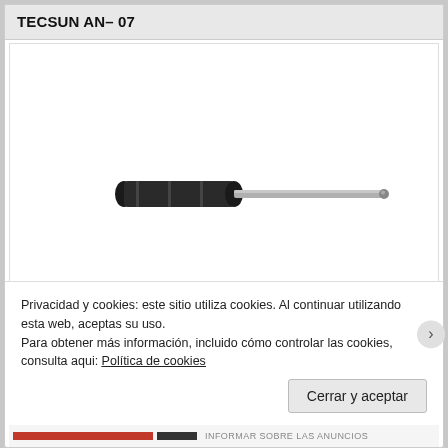TECSUN AN– 07
[Figure (photo): A telescoping radio antenna — TECSUN AN-07 — shown horizontally. It has a black cylindrical grip/handle on the left and a long silver/chrome telescoping rod extending to the right, ending in a small ball tip.]
Privacidad y cookies: este sitio utiliza cookies. Al continuar utilizando esta web, aceptas su uso.
Para obtener más información, incluido cómo controlar las cookies, consulta aqui: Política de cookies
Cerrar y aceptar